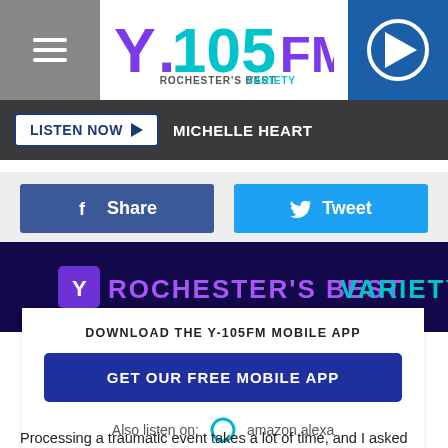Y.105FM Rochester's Best Variety
LISTEN NOW  MICHELLE HEART
Share  Tweet
[Figure (screenshot): Y-105FM Rochester's Best Variety banner]
DOWNLOAD THE Y-105FM MOBILE APP
GET OUR FREE MOBILE APP
Also listen on:  amazon alexa
Processing a traumatic event takes a lot of time, and I asked